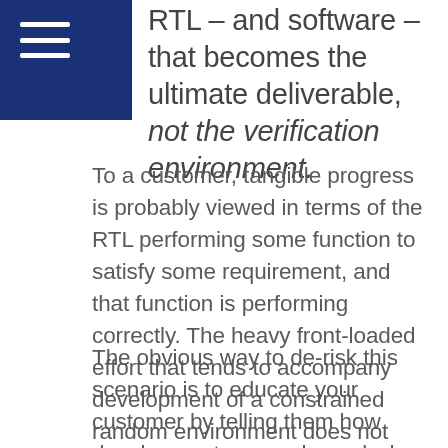RTL – and software – that becomes the ultimate deliverable, not the verification environment.
To a customer, tangible progress is probably viewed in terms of the RTL performing some function to satisfy some requirement, and that function is performing correctly. The heavy front-loaded effort that tends to accompany development of a constrained random environment does not lend itself well to producing this type of progress in the early stages however. This poses a risk to the project where the verification team is not able to give a customer the progress they expect.
The obvious way to de-risk this scenario is to educate your customer by telling them how development proceeds, and when and how they should expect to see results. They should